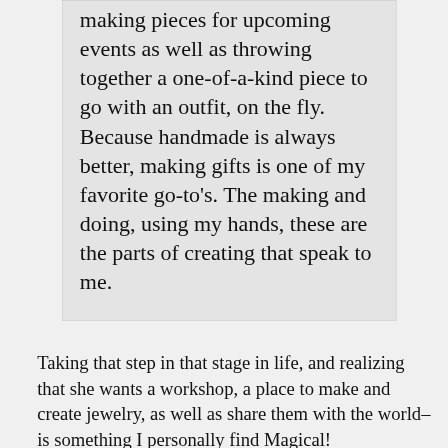making pieces for upcoming events as well as throwing together a one-of-a-kind piece to go with an outfit, on the fly. Because handmade is always better, making gifts is one of my favorite go-to’s. The making and doing, using my hands, these are the parts of creating that speak to me.
Taking that step in that stage in life, and realizing that she wants a workshop, a place to make and create jewelry, as well as share them with the world– is something I personally find Magical!